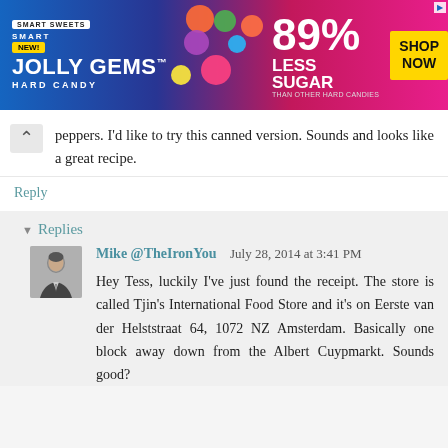[Figure (photo): SmartSweets Jolly Gems Hard Candy advertisement banner. Blue/purple gradient background with colorful candy images. Text reads: SmartSweets, NEW!, JOLLY GEMS, HARD CANDY, 89% LESS SUGAR THAN OTHER HARD CANDIES, SHOP NOW]
peppers. I'd like to try this canned version. Sounds and looks like a great recipe.
Reply
Replies
Mike @TheIronYou    July 28, 2014 at 3:41 PM
Hey Tess, luckily I've just found the receipt. The store is called Tjin's International Food Store and it's on Eerste van der Helststraat 64, 1072 NZ Amsterdam. Basically one block away down from the Albert Cuypmarkt. Sounds good?